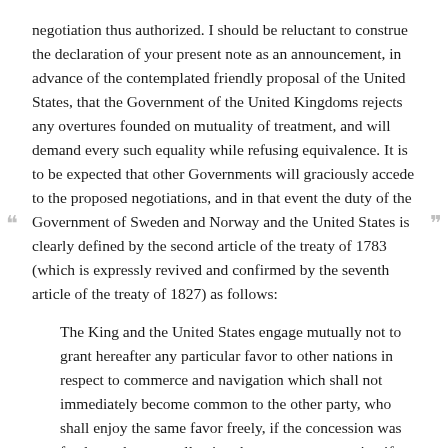negotiation thus authorized. I should be reluctant to construe the declaration of your present note as an announcement, in advance of the contemplated friendly proposal of the United States, that the Government of the United Kingdoms rejects any overtures founded on mutuality of treatment, and will demand every such equality while refusing equivalence. It is to be expected that other Governments will graciously accede to the proposed negotiations, and in that event the duty of the Government of Sweden and Norway and the United States is clearly defined by the second article of the treaty of 1783 (which is expressly revived and confirmed by the seventh article of the treaty of 1827) as follows:
The King and the United States engage mutually not to grant hereafter any particular favor to other nations in respect to commerce and navigation which shall not immediately become common to the other party, who shall enjoy the same favor freely, if the concession was freely made, or on allowing the same compensation if the concession was conditional.
Accept, etc.,